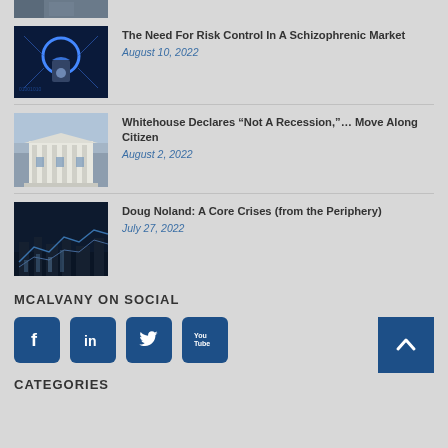[Figure (photo): Partial article thumbnail image at top, cropped]
The Need For Risk Control In A Schizophrenic Market
August 10, 2022
[Figure (photo): Glowing digital padlock on blue circuit background]
Whitehouse Declares “Not A Recession,”… Move Along Citizen
August 2, 2022
[Figure (photo): Federal Reserve building exterior]
Doug Noland: A Core Crises (from the Periphery)
July 27, 2022
[Figure (photo): Financial market charts with city skyline]
MCALVANY ON SOCIAL
[Figure (infographic): Social media icons: Facebook, LinkedIn, Twitter, YouTube]
CATEGORIES